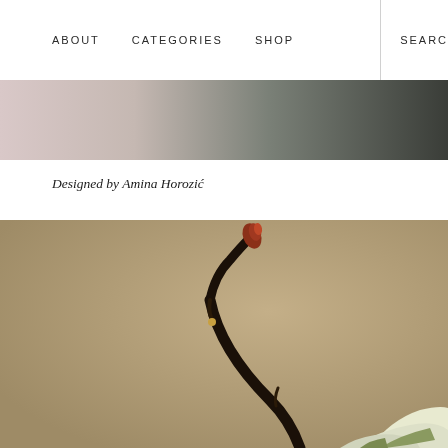ABOUT   CATEGORIES   SHOP   SEARC
[Figure (photo): Horizontal gradient banner image transitioning from pale pink/rose on the left to dark charcoal/grey on the right]
Designed by Amina Horozić
[Figure (photo): Close-up photograph of a dark branch with a red-tipped bud curling upward, set against a warm tan/kraft background, with white flower petals visible at the bottom right corner]